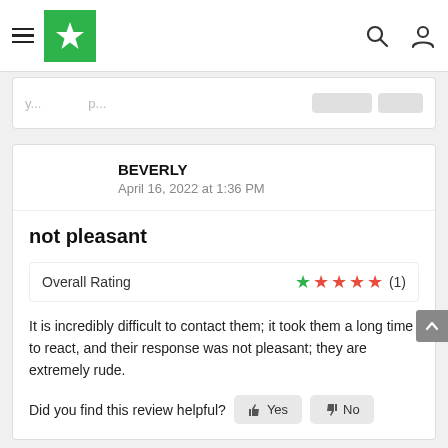Navigation bar with hamburger menu, Trustpilot-style logo, search icon, and user icon
BEVERLY
April 16, 2022 at 1:36 PM
not pleasant
Overall Rating ★★★★★ (1)
It is incredibly difficult to contact them; it took them a long time to react, and their response was not pleasant; they are extremely rude.
Did you find this review helpful? Yes No